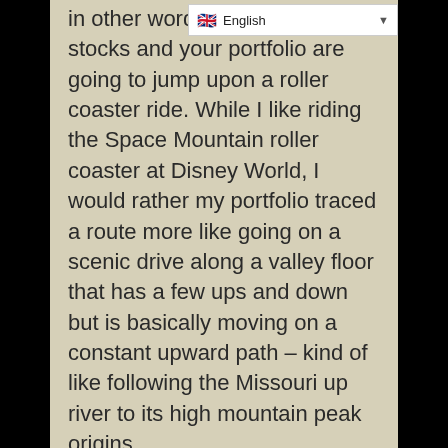in other words, buy and your stocks and your portfolios are going to jump upon a roller coaster ride. While I like riding the Space Mountain roller coaster at Disney World, I would rather my portfolio traced a route more like going on a scenic drive along a valley floor that has a few ups and down but is basically moving on a constant upward path – kind of like following the Missouri up river to its high mountain peak origins.
The key is not simply market timing, but rather to picking positions that are moving ahead better than others, even better than what your current holding is doing. This is accomplished by implementing: